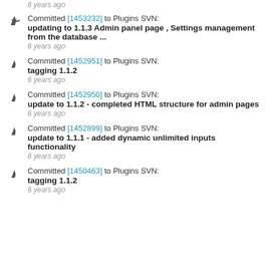6 years ago
Committed [1453232] to Plugins SVN: updating to 1.1.3 Admin panel page , Settings management from the database ...
6 years ago
Committed [1452951] to Plugins SVN: tagging 1.1.2
6 years ago
Committed [1452950] to Plugins SVN: update to 1.1.2 - completed HTML structure for admin pages
6 years ago
Committed [1452899] to Plugins SVN: update to 1.1.1 - added dynamic unlimited inputs functionality
6 years ago
Committed [1450463] to Plugins SVN: tagging 1.1.2
6 years ago